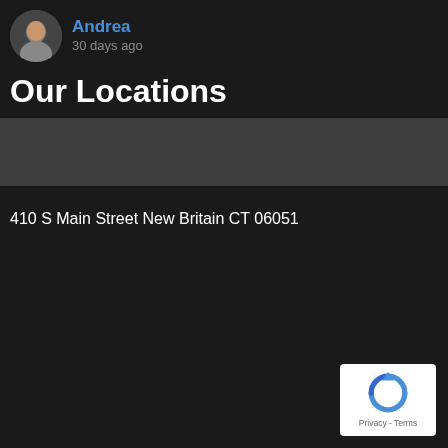[Figure (photo): Small circular avatar photo of a person (Andrea), dark background social media UI]
Andrea
30 days ago
Our Locations
[Figure (other): Blurred/redacted map image placeholder]
410 S Main Street New Britain CT 06051
[Figure (logo): reCAPTCHA badge with Privacy and Terms links]